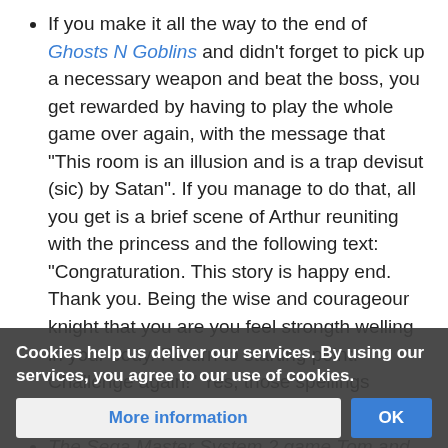If you make it all the way to the end of Ghosts N Goblins and didn't forget to pick up a necessary weapon and beat the boss, you get rewarded by having to play the whole game over again, with the message that "This room is an illusion and is a trap devisut (sic) by Satan". If you manage to do that, all you get is a brief scene of Arthur reuniting with the princess and the following text: "Congraturation. This story is happy end. Thank you. Being the wise and courageour knight that you are you feel strongth welling in your body. Return to starting point. Challenge again!" Yes, those spellings mistakes were in the game.
The Sega Master System 2 game Tom and Jerry did this. After playing your way through all the levels and finally catching Jerry, you are Congratulated, then informed that... Jerry and sent back to play the game over again.
Cookies help us deliver our services. By using our services, you agree to our use of cookies.